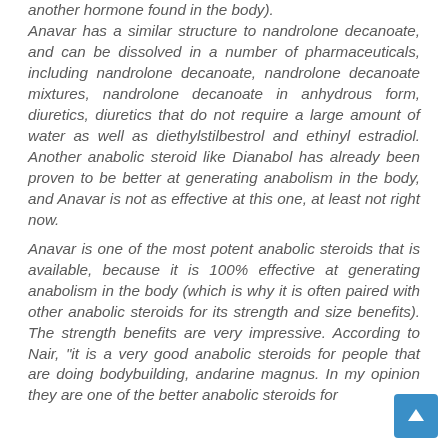another hormone found in the body). Anavar has a similar structure to nandrolone decanoate, and can be dissolved in a number of pharmaceuticals, including nandrolone decanoate, nandrolone decanoate mixtures, nandrolone decanoate in anhydrous form, diuretics, diuretics that do not require a large amount of water as well as diethylstilbestrol and ethinyl estradiol. Another anabolic steroid like Dianabol has already been proven to be better at generating anabolism in the body, and Anavar is not as effective at this one, at least not right now.
Anavar is one of the most potent anabolic steroids that is available, because it is 100% effective at generating anabolism in the body (which is why it is often paired with other anabolic steroids for its strength and size benefits). The strength benefits are very impressive. According to Nair, "it is a very good anabolic steroids for people that are doing bodybuilding, andarine magnus. In my opinion they are one of the better anabolic steroids for